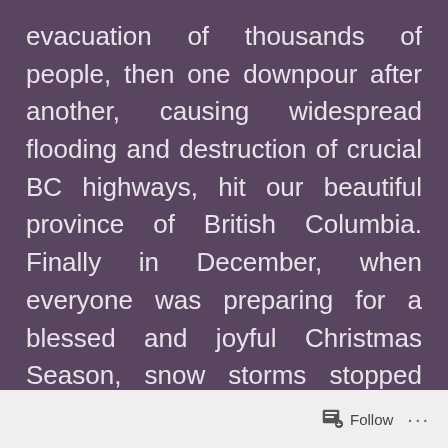evacuation of thousands of people, then one downpour after another, causing widespread flooding and destruction of crucial BC highways, hit our beautiful province of British Columbia. Finally in December, when everyone was preparing for a blessed and joyful Christmas Season, snow storms stopped normal traffic, and an arctic chill plunged the coastal regions into the deep freeze. Then there was Covid-19 creating unprecedented hardships in
Follow ...